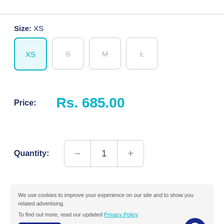Size: XS
[Figure (other): Size selector buttons: XS (selected/active with cyan border), S (strikethrough), M (strikethrough), L (strikethrough)]
Price: Rs. 685.00
Quantity: 1 (with minus and plus controls)
We use cookies to improve your experience on our site and to show you related advertising.

To find out more, read our updated Privacy Policy
Accept